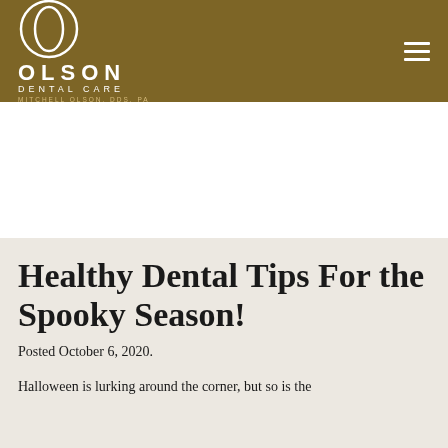[Figure (logo): Olson Dental Care logo with circular O symbol and text: OLSON DENTAL CARE, Mitchell Olson, DDS, PA. White text on dark gold/brown background.]
Healthy Dental Tips For the Spooky Season!
Posted October 6, 2020.
Halloween is lurking around the corner, but so is the